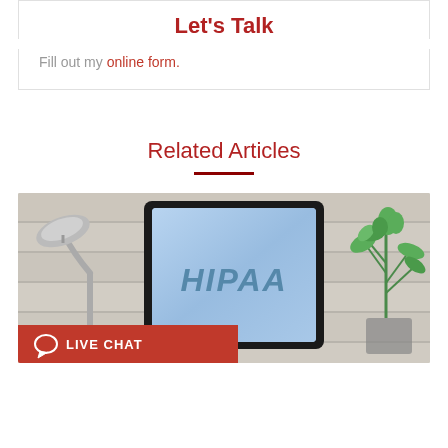Let's Talk
Fill out my online form.
Related Articles
[Figure (photo): A desk scene with a tablet displaying 'HIPAA', a desk lamp on the left, and a green plant on the right, on a light wood background. A red Live Chat bar is visible at the bottom left.]